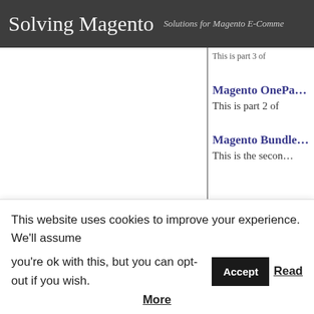Solving Magento — Solutions for Magento E-Commerce
This is part 3 of…
Magento OnePa…
This is part 2 of…
Magento Bundle…
This is the secon…
This website uses cookies to improve your experience. We'll assume you're ok with this, but you can opt-out if you wish. Accept Read More